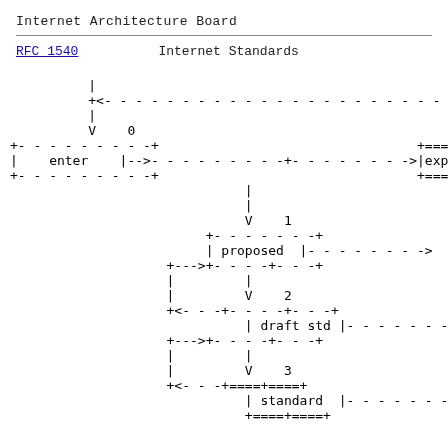Internet Architecture Board
RFC 1540                        Internet Standards
[Figure (flowchart): Internet standards process flowchart showing states: enter, proposed, draft std, standard, and experimental, connected by dashed and solid arrows with cycle numbers 0, 1, 2, 3]